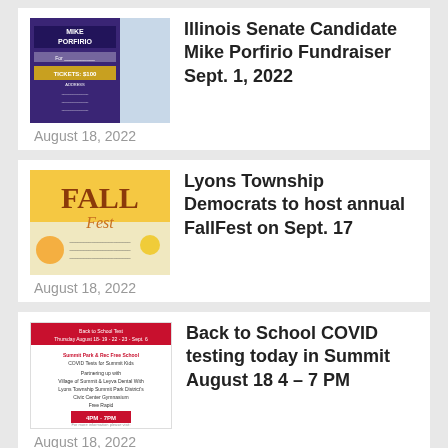[Figure (photo): Thumbnail image for Mike Porfirio Illinois Senate Candidate fundraiser flyer with blue and dark purple design]
Illinois Senate Candidate Mike Porfirio Fundraiser Sept. 1, 2022
August 18, 2022
[Figure (photo): Thumbnail image for FallFest event with orange and yellow autumn colors, text reading FALL fest]
Lyons Township Democrats to host annual FallFest on Sept. 17
August 18, 2022
[Figure (photo): Thumbnail image for Back to School COVID testing flyer with red header and white text]
Back to School COVID testing today in Summit August 18 4 – 7 PM
August 18, 2022
Motorcycle-truck accident shuts down 79th street in Bridgeview